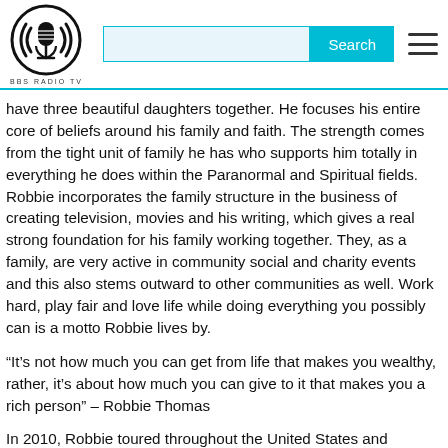BBS RADIO TV
have three beautiful daughters together. He focuses his entire core of beliefs around his family and faith. The strength comes from the tight unit of family he has who supports him totally in everything he does within the Paranormal and Spiritual fields. Robbie incorporates the family structure in the business of creating television, movies and his writing, which gives a real strong foundation for his family working together. They, as a family, are very active in community social and charity events and this also stems outward to other communities as well. Work hard, play fair and love life while doing everything you possibly can is a motto Robbie lives by.
“It’s not how much you can get from life that makes you wealthy, rather, it’s about how much you can give to it that makes you a rich person” – Robbie Thomas
In 2010, Robbie toured throughout the United States and Canada, assisting families who were devastated by the senseless act of murder